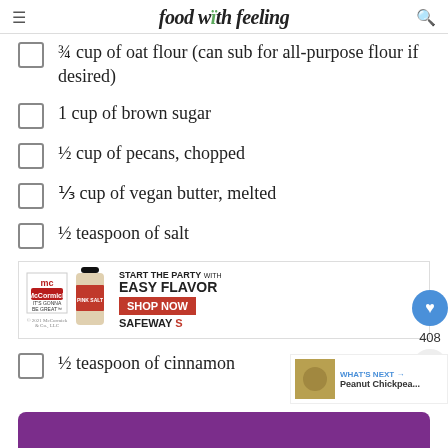food with feeling
¾ cup of oat flour (can sub for all-purpose flour if desired)
1 cup of brown sugar
½ cup of pecans, chopped
⅓ cup of vegan butter, melted
½ teaspoon of salt
[Figure (infographic): McCormick advertisement: START THE PARTY with EASY FLAVOR – SHOP NOW at SAFEWAY]
½ teaspoon of cinnamon